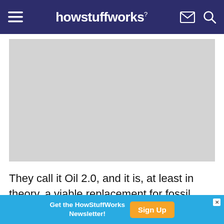howstuffworks
[Figure (photo): Gray placeholder image area for a photo or illustration]
They call it Oil 2.0, and it is, at least in theory, a viable replacement for fossil fuels. "They" is LS9, a
[Figure (infographic): Ad banner: Get the HowStuffWorks Newsletter! Sign Up button]